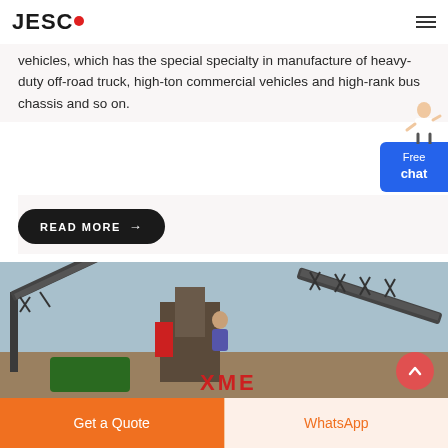JESCO
vehicles, which has the special specialty in manufacture of heavy-duty off-road truck, high-ton commercial vehicles and high-rank bus chassis and so on.
READ MORE →
[Figure (photo): Industrial machinery/conveyor belt equipment at a construction or mining site, with XME branding visible]
Get a Quote
WhatsApp